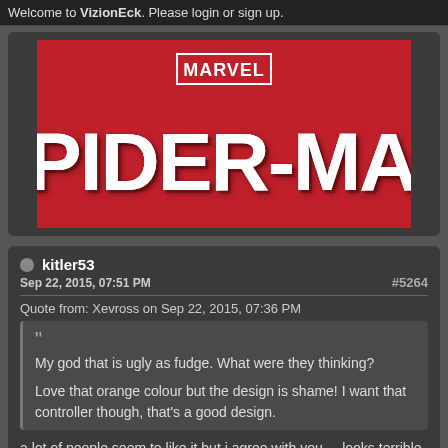Welcome to VizionEck. Please login or sign up.
[Figure (illustration): Marvel Spider-Man logo on red background with large white text reading SPIDER-MAN]
kitler53
Sep 22, 2015, 07:51 PM
#5264
Quote from: Xevross on Sep 22, 2015, 07:36 PM
My god that is ugly as fudge. What were they thinking?
Love that orange colour but the design is shame! I want that controller though, that's a good design.
a lot of people seem to like it but i agree with you,... looks terrible.